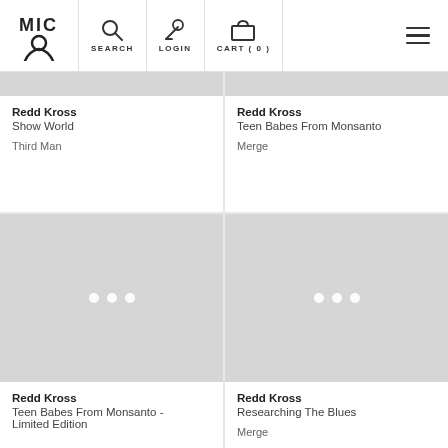MIC [logo] | SEARCH | LOGIN | CART (0) | [menu]
Redd Kross
Show World
Third Man
Redd Kross
Teen Babes From Monsanto
Merge
[Figure (photo): Placeholder image loading indicator with three white dots on grey background]
Redd Kross
Teen Babes From Monsanto - Limited Edition
[Figure (photo): Placeholder image loading indicator with three white dots on grey background]
Redd Kross
Researching The Blues
Merge